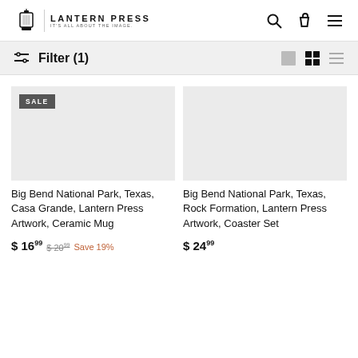Lantern Press — IT'S ALL ABOUT THE IMAGE.
Filter (1)
[Figure (screenshot): Product image area for Big Bend National Park, Texas, Casa Grande, Lantern Press Artwork, Ceramic Mug with SALE badge]
Big Bend National Park, Texas, Casa Grande, Lantern Press Artwork, Ceramic Mug
$ 16.99  $ 20.99  Save 19%
[Figure (screenshot): Product image area for Big Bend National Park, Texas, Rock Formation, Lantern Press Artwork, Coaster Set]
Big Bend National Park, Texas, Rock Formation, Lantern Press Artwork, Coaster Set
$ 24.99